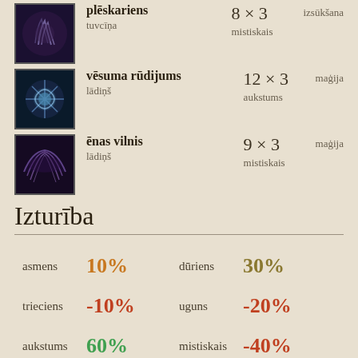plēskariens 8 × 3 | tuvcīņa | mistiskais | izsūkšana
vēsuma rūdijums 12 × 3 | lādiņš | aukstums | maģija
ēnas vilnis 9 × 3 | lādiņš | mistiskais | maģija
Izturība
| Type | Value | Type | Value |
| --- | --- | --- | --- |
| asmens | 10% | dūriens | 30% |
| trieciens | -10% | uguns | -20% |
| aukstums | 60% | mistiskais | -40% |
Terrain